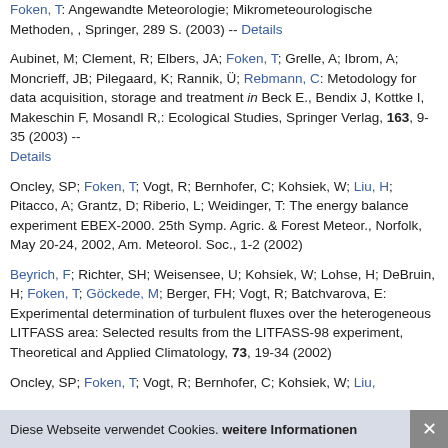Foken, T: Angewandte Meteorologie; Mikrometeourologische Methoden, , Springer, 289 S. (2003) -- Details
Aubinet, M; Clement, R; Elbers, JA; Foken, T; Grelle, A; Ibrom, A; Moncrieff, JB; Pilegaard, K; Rannik, Ü; Rebmann, C: Metodology for data acquisition, storage and treatment in Beck E., Bendix J, Kottke I, Makeschin F, Mosandl R,: Ecological Studies, Springer Verlag, 163, 9-35 (2003) -- Details
Oncley, SP; Foken, T; Vogt, R; Bernhofer, C; Kohsiek, W; Liu, H; Pitacco, A; Grantz, D; Riberio, L; Weidinger, T: The energy balance experiment EBEX-2000. 25th Symp. Agric. & Forest Meteor., Norfolk, May 20-24, 2002, Am. Meteorol. Soc., 1-2 (2002)
Beyrich, F; Richter, SH; Weisensee, U; Kohsiek, W; Lohse, H; DeBruin, H; Foken, T; Göckede, M; Berger, FH; Vogt, R; Batchvarova, E: Experimental determination of turbulent fluxes over the heterogeneous LITFASS area: Selected results from the LITFASS-98 experiment, Theoretical and Applied Climatology, 73, 19-34 (2002)
Oncley, SP; Foken, T; Vogt, R; Bernhofer, C; Kohsiek, W; Liu,
Diese Webseite verwendet Cookies. weitere Informationen